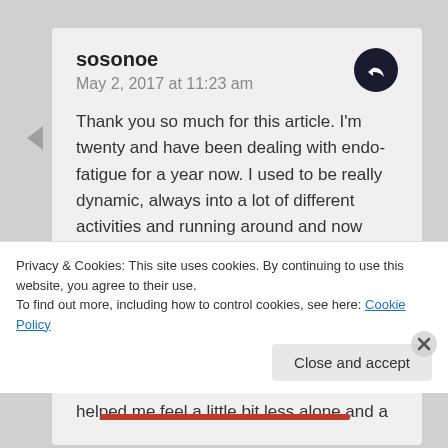sosonoe
May 2, 2017 at 11:23 am
Thank you so much for this article. I'm twenty and have been dealing with endo-fatigue for a year now. I used to be really dynamic, always into a lot of different activities and running around and now even taking a shower or making myself something to eat is a challenge. I've been feeling extremely lonely because I feel like no one understands/believes my physical exaustion and it's truly a struggle to keep up with my daily life. Your article has helped me feel a little bit less alone and a
Privacy & Cookies: This site uses cookies. By continuing to use this website, you agree to their use.
To find out more, including how to control cookies, see here: Cookie Policy